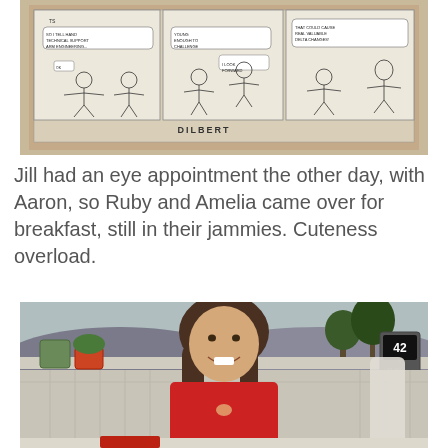[Figure (photo): A Dilbert comic strip laid on a granite countertop, showing three comic panels with characters and speech bubbles. 'DILBERT' is printed at the bottom.]
Jill had an eye appointment the other day, with Aaron, so Ruby and Amelia came over for breakfast, still in their jammies. Cuteness overload.
[Figure (photo): A young girl with long brown hair, wearing a red long-sleeve top with a small deer graphic, smiling at the camera while sitting at a table. In the background is a window looking out to a yard, a small terrarium, a red flower pot, and a digital weather station showing 42 degrees.]